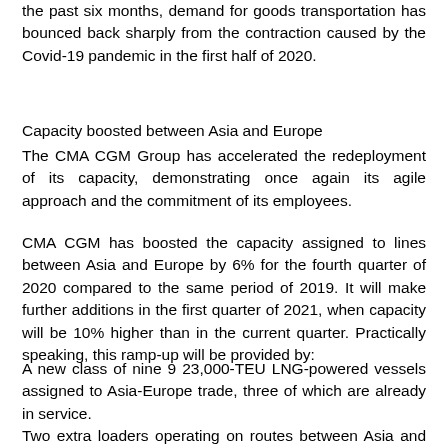the past six months, demand for goods transportation has bounced back sharply from the contraction caused by the Covid-19 pandemic in the first half of 2020.
Capacity boosted between Asia and Europe
The CMA CGM Group has accelerated the redeployment of its capacity, demonstrating once again its agile approach and the commitment of its employees.
CMA CGM has boosted the capacity assigned to lines between Asia and Europe by 6% for the fourth quarter of 2020 compared to the same period of 2019. It will make further additions in the first quarter of 2021, when capacity will be 10% higher than in the current quarter. Practically speaking, this ramp-up will be provided by:
A new class of nine 9 23,000-TEU LNG-powered vessels assigned to Asia-Europe trade, three of which are already in service.
Two extra loaders operating on routes between Asia and Europe, providing over 9,000 TEU in total capacity, with special